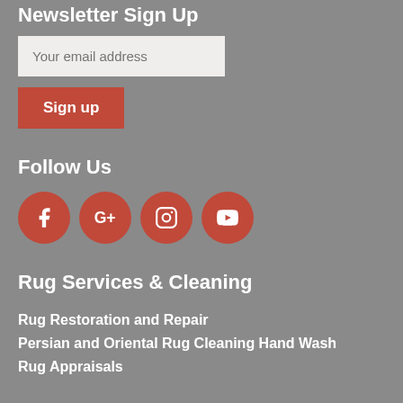Newsletter Sign Up
Your email address
Sign up
Follow Us
[Figure (other): Four social media icon buttons: Facebook, Google+, Instagram, YouTube — each in an orange-red circle]
Rug Services & Cleaning
Rug Restoration and Repair
Persian and Oriental Rug Cleaning Hand Wash
Rug Appraisals